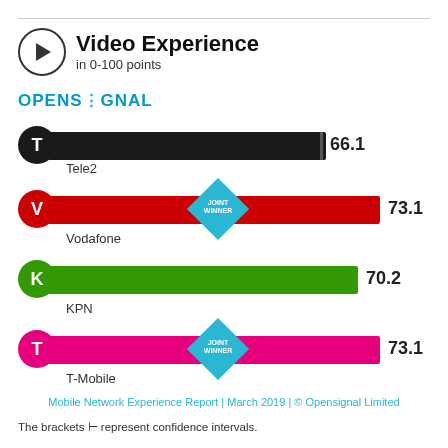Video Experience
in 0-100 points
[Figure (bar-chart): Video Experience in 0-100 points]
Mobile Network Experience Report | March 2019 | © Opensignal Limited
The brackets ⊢ represent confidence intervals.